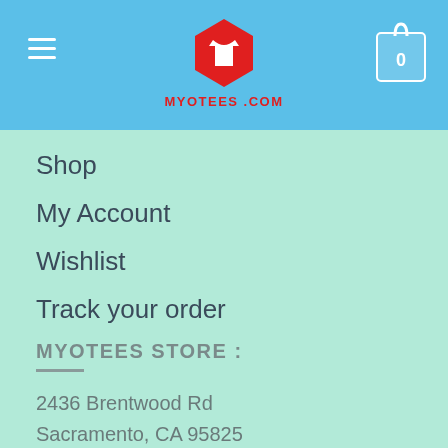[Figure (logo): MYOTEES.COM logo: red hexagon with white t-shirt icon, red text MYOTEES .COM below]
Shop
My Account
Wishlist
Track your order
MYOTEES STORE :
2436 Brentwood Rd
Sacramento, CA 95825
United States
Hours:
Monday – Saturday : 7AM – 10PM